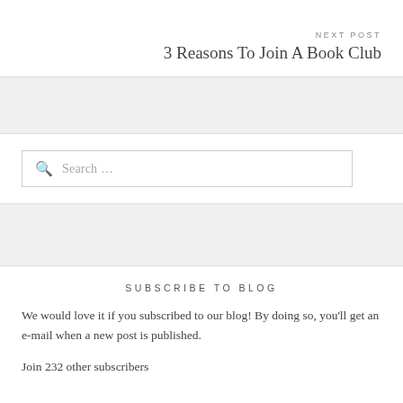y ould We About Parenting
NEXT POST
3 Reasons To Join A Book Club
[Figure (other): Search input box with magnifying glass icon and placeholder text 'Search ...']
SUBSCRIBE TO BLOG
We would love it if you subscribed to our blog! By doing so, you'll get an e-mail when a new post is published.
Join 232 other subscribers